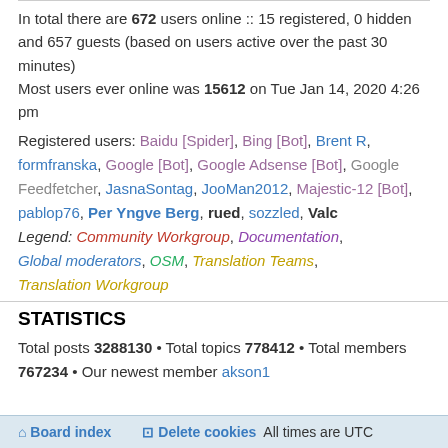In total there are 672 users online :: 15 registered, 0 hidden and 657 guests (based on users active over the past 30 minutes)
Most users ever online was 15612 on Tue Jan 14, 2020 4:26 pm
Registered users: Baidu [Spider], Bing [Bot], Brent R, formfranska, Google [Bot], Google Adsense [Bot], Google Feedfetcher, JasnaSontag, JooMan2012, Majestic-12 [Bot], pablop76, Per Yngve Berg, rued, sozzled, Valc
Legend: Community Workgroup, Documentation, Global moderators, OSM, Translation Teams, Translation Workgroup
STATISTICS
Total posts 3288130 • Total topics 778412 • Total members 767234 • Our newest member akson1
Board index    Delete cookies   All times are UTC